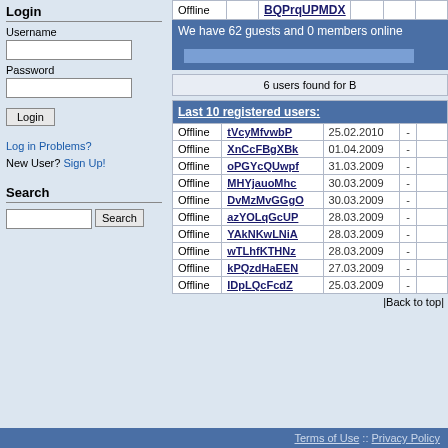|  |  | BQPrqUPMDX |  |  |  |
| --- | --- | --- | --- | --- | --- |
| Offline |  | BQPrqUPMDX |  |  |  |
We have 62 guests and 0 members online
6 users found for B
| Last 10 registered users: |  |  |  |  |
| --- | --- | --- | --- | --- |
| Offline | tVcyMfvwbP | 25.02.2010 | - |  |
| Offline | XnCcFBgXBk | 01.04.2009 | - |  |
| Offline | oPGYcQUwpf | 31.03.2009 | - |  |
| Offline | MHYjauoMhc | 30.03.2009 | - |  |
| Offline | DvMzMvGGgO | 30.03.2009 | - |  |
| Offline | azYOLqGcUP | 28.03.2009 | - |  |
| Offline | YAkNKwLNiA | 28.03.2009 | - |  |
| Offline | wTLhfKTHNz | 28.03.2009 | - |  |
| Offline | kPQzdHaEEN | 27.03.2009 | - |  |
| Offline | IDpLQcFcdZ | 25.03.2009 | - |  |
|Back to top|
Login
Username
Password
Log in Problems?
New User? Sign Up!
Search
Terms of Use :: Privacy Policy